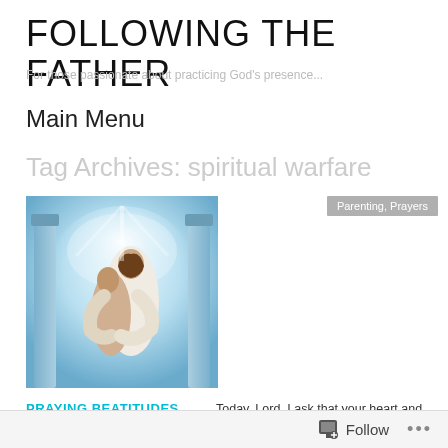FOLLOWING THE FATHER
For those passionate about practicing God's presence...
Main Menu
Tag Archives: spiritual warfare
[Figure (photo): A person being embraced by Jesus Christ in a heavenly, light-filled setting with pillars in the background]
Parenting, Prayers
PRAYING BEATITUDES #1(POOR) & #2
Today, Lord, I ask that your heart and your attitude would be formed in my children and grandchildren.
Follow ...